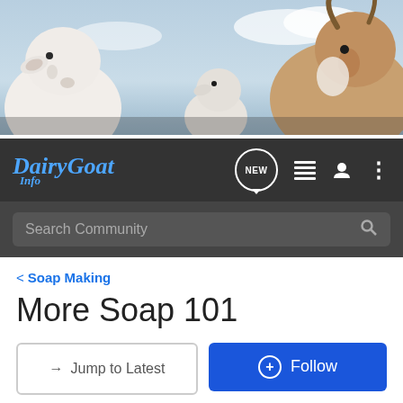[Figure (photo): Banner photo of three goats against a cloudy sky background]
[Figure (logo): DairyGoat Info logo in blue italic script with navigation icons including NEW chat bubble, list icon, user icon, and menu dots]
Search Community
< Soap Making
More Soap 101
→ Jump to Latest
+ Follow
1 - 8 of 8 Posts
goatmom · Registered
Joined Oct 26, 2007 · 178 Posts